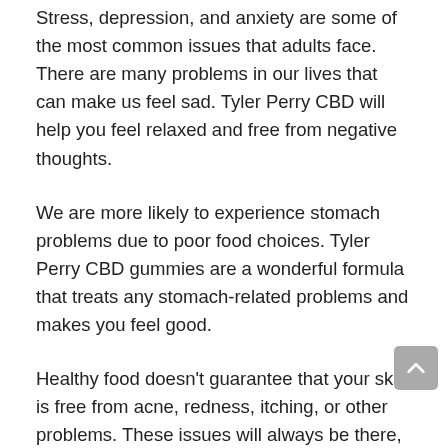Stress, depression, and anxiety are some of the most common issues that adults face. There are many problems in our lives that can make us feel sad. Tyler Perry CBD will help you feel relaxed and free from negative thoughts.
We are more likely to experience stomach problems due to poor food choices. Tyler Perry CBD gummies are a wonderful formula that treats any stomach-related problems and makes you feel good.
Healthy food doesn't guarantee that your skin is free from acne, redness, itching, or other problems. These issues will always be there, even if you take great care of your skin. Regular consumption of CBD gummies can help clear your skin.